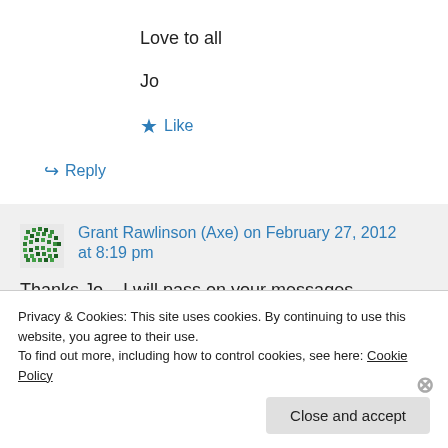Love to all
Jo
★ Like
↪ Reply
Grant Rawlinson (Axe) on February 27, 2012 at 8:19 pm
Thanks Jo – I will pass on your messages
Privacy & Cookies: This site uses cookies. By continuing to use this website, you agree to their use.
To find out more, including how to control cookies, see here: Cookie Policy
Close and accept